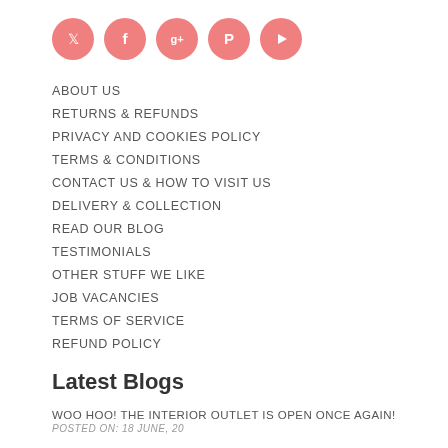[Figure (illustration): Five circular salmon/coral-colored social media icons in a row: Twitter, Facebook, Google+, Pinterest, YouTube]
ABOUT US
RETURNS & REFUNDS
PRIVACY AND COOKIES POLICY
TERMS & CONDITIONS
CONTACT US & HOW TO VISIT US
DELIVERY & COLLECTION
READ OUR BLOG
TESTIMONIALS
OTHER STUFF WE LIKE
JOB VACANCIES
TERMS OF SERVICE
REFUND POLICY
Latest Blogs
WOO HOO! THE INTERIOR OUTLET IS OPEN ONCE AGAIN!
POSTED ON: 18 JUNE, 20
COME TAKE A PEEK INSIDE YORKSHIRE'S SOFA OUTLET QUOTED BY TELEGRAPH AS "A HIDDEN GEM"